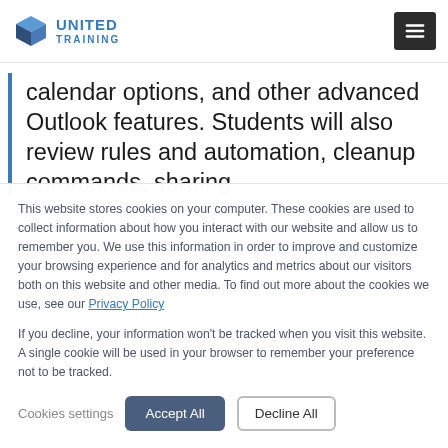United Training
calendar options, and other advanced Outlook features. Students will also review rules and automation, cleanup commands, sharing
This website stores cookies on your computer. These cookies are used to collect information about how you interact with our website and allow us to remember you. We use this information in order to improve and customize your browsing experience and for analytics and metrics about our visitors both on this website and other media. To find out more about the cookies we use, see our Privacy Policy
If you decline, your information won't be tracked when you visit this website. A single cookie will be used in your browser to remember your preference not to be tracked.